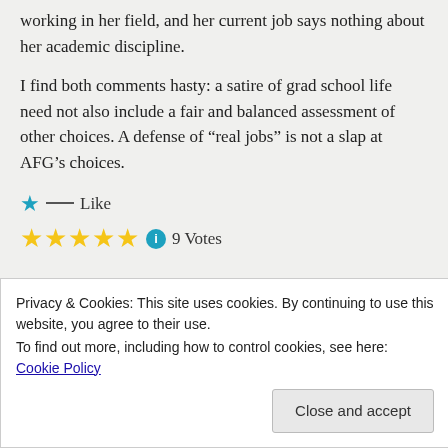working in her field, and her current job says nothing about her academic discipline.
I find both comments hasty: a satire of grad school life need not also include a fair and balanced assessment of other choices. A defense of “real jobs” is not a slap at AFG’s choices.
★ Like
★★★★★ ⓘ 9 Votes
Privacy & Cookies: This site uses cookies. By continuing to use this website, you agree to their use.
To find out more, including how to control cookies, see here: Cookie Policy